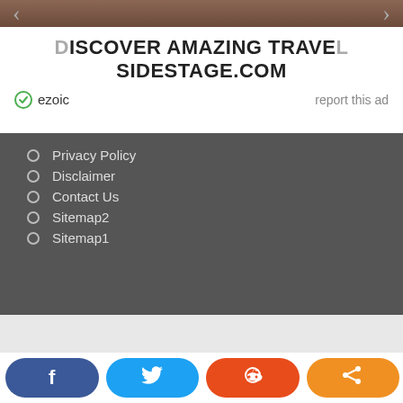[Figure (screenshot): Advertisement banner with photo image strip at top, navigation arrows, headline text 'DISCOVER AMAZING TRAVEL SIDESTAGE.COM', ezoic badge and report this ad link]
Privacy Policy
Disclaimer
Contact Us
Sitemap2
Sitemap1
WordPress Theme: Dynamico by ThemeZee.
[Figure (screenshot): Social sharing buttons bar at bottom: Facebook, Twitter, Reddit, Share]